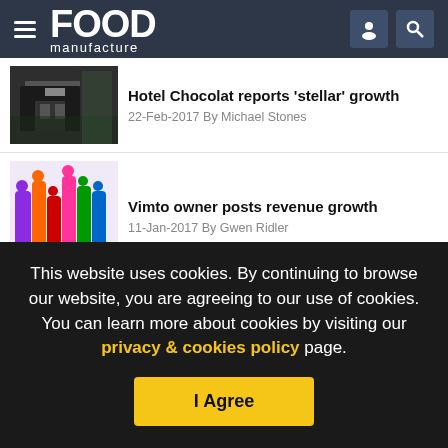FOOD manufacture
Hotel Chocolat reports 'stellar' growth
22-Feb-2017 By Michael Stones
Vimto owner posts revenue growth
11-Jan-2017 By Gwen Ridler
Moy Park sales boosted by export
This website uses cookies. By continuing to browse our website, you are agreeing to our use of cookies. You can learn more about cookies by visiting our privacy & cookies policy page.